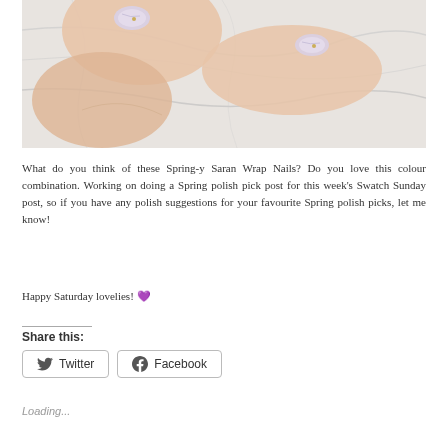[Figure (photo): Close-up photograph of a hand with spring-themed saran wrap nails in pearlescent pastel colors with small gold studs, resting on a white marble surface.]
What do you think of these Spring-y Saran Wrap Nails? Do you love this colour combination. Working on doing a Spring polish pick post for this week's Swatch Sunday post, so if you have any polish suggestions for your favourite Spring polish picks, let me know!
Happy Saturday lovelies! 💜
Share this:
Loading...